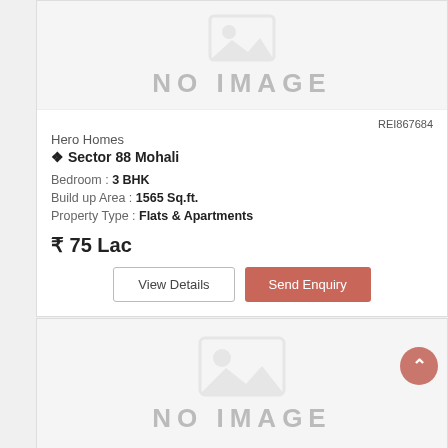[Figure (other): No image placeholder for property listing]
REI867684
Hero Homes
Sector 88 Mohali
Bedroom : 3 BHK
Build up Area : 1565 Sq.ft.
Property Type : Flats & Apartments
₹ 75 Lac
[Figure (other): No image placeholder for second property listing]